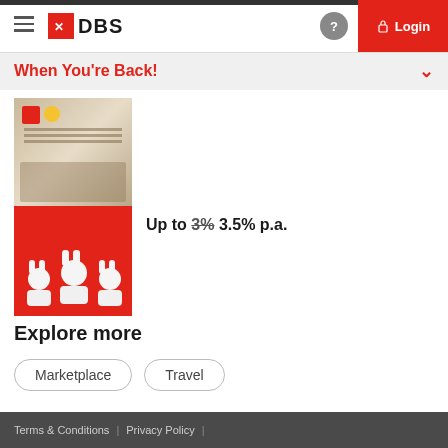DBS — Login
When You're Back!
[Figure (photo): Shopping/retail scene with colorful items on shelves, coins and a robot figurine visible]
[Figure (photo): Three white ceramic rabbit figurines with accessories on a red background]
Up to 3% 3.5% p.a.
Explore more
Marketplace
Travel
Terms & Conditions | Privacy Policy |